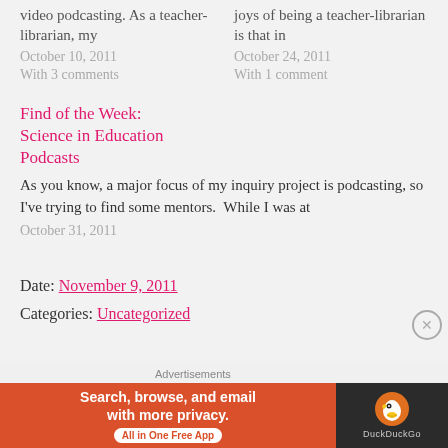video podcasting. As a teacher-librarian, my
joys of being a teacher-librarian is that in
October 10, 2011
With 3 comments
October 24, 2011
With 1 comment
Find of the Week: Science in Education Podcasts
As you know, a major focus of my inquiry project is podcasting, so I've trying to find some mentors.  While I was at
October 31, 2011
Date: November 9, 2011
Categories: Uncategorized
Advertisements
[Figure (infographic): DuckDuckGo advertisement banner: orange left panel reading 'Search, browse, and email with more privacy. All in One Free App' with a white pill button, and dark right panel with DuckDuckGo duck logo and brand name.]